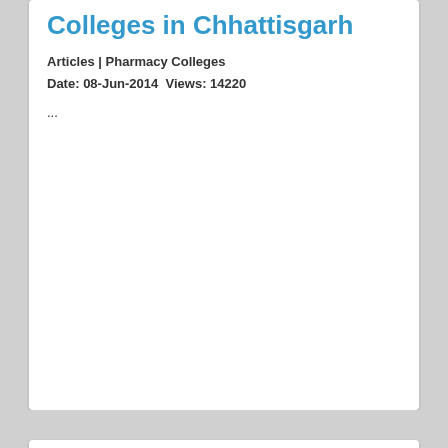Colleges in Chhattisgarh
Articles | Pharmacy Colleges
Date: 08-Jun-2014  Views: 14220
...
[Figure (illustration): Black banner image with orange bold text reading 'Pharmacy Colleges in Kerala']
List of Pharmacy Colleges in Kerala
Articles | Pharmacy Colleges
Date: 08-Jun-2014  Views: 4321
Pharmacy colleges in Kerala are of national repute and provide great infrastructural facilities to the students. Since past few years, pharmacy market ...